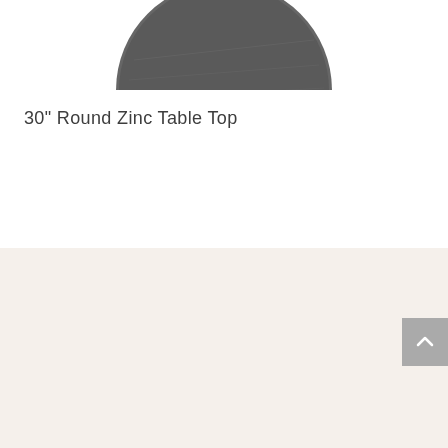[Figure (photo): Partial view of a round zinc table top, showing the bottom half of a circular dark grey stone/zinc surface, cropped at the top of the page.]
30" Round Zinc Table Top
[Figure (illustration): Two overlapping speech bubble icons — a larger speech bubble with a question mark, and a smaller speech bubble with an exclamation mark — representing a FAQ or common questions icon. Drawn in a thin dark outline style on a beige background.]
Common Questions